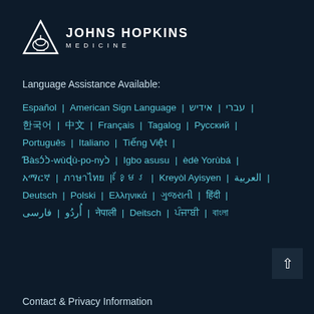[Figure (logo): Johns Hopkins Medicine logo with dome icon and text JOHNS HOPKINS MEDICINE]
Language Assistance Available:
Español | American Sign Language | עברי | אידיש | [Korean] | [Chinese] | Français | Tagalog | Русский | Português | Italiano | Tiếng Việt | Ɓàsɔ́ɔ̀-wùɖù-po-nyɔ̀ | Igbo asusu | èdè Yorùbá | [Amharic] | [Thai] | [Khmer] | Kreyòl Ayisyen | العربية | Deutsch | Polski | Ελληνικά | [Gujarati] | [Hindi] | أُردُو | فارسی | [Nepali] | Deitsch | [Punjabi] | [Bengali]
Contact & Privacy Information